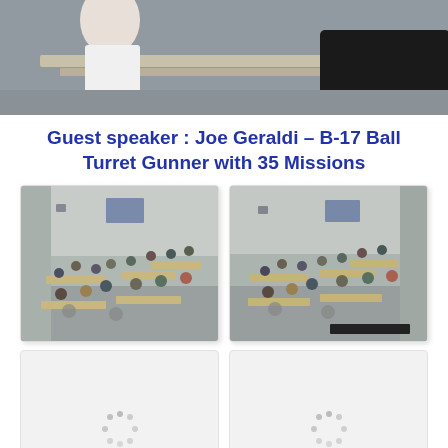[Figure (photo): Top cropped photo showing people seated at tables, viewed from behind, in what appears to be a large indoor space.]
Guest speaker : Joe Geraldi – B-17 Ball Turret Gunner with 35 Missions
[Figure (photo): Aerial view of people in a hangar or large hall, seated and standing at tables, with artwork on walls.]
[Figure (photo): Aerial view of same hangar scene from a slightly different angle, showing people at tables.]
[Figure (photo): Loading placeholder with spinner dots — image not yet loaded.]
[Figure (photo): Loading placeholder with spinner dots — image not yet loaded.]